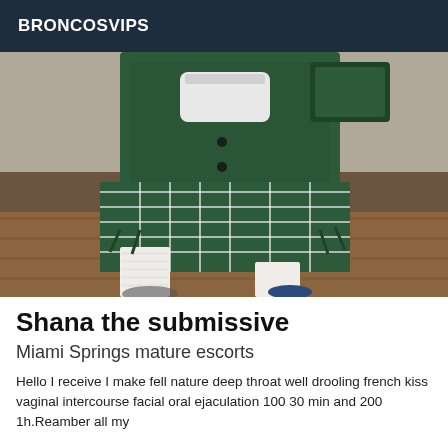BRONCOSVIPS
[Figure (photo): Person wearing a green plaid skirt and green varsity jacket with white lace stockings and blue shoes, photographed from waist down indoors on a wooden floor.]
Shana the submissive
Miami Springs mature escorts
Hello I receive I make fell nature deep throat well drooling french kiss vaginal intercourse facial oral ejaculation 100 30 min and 200 1h.Reamber all my